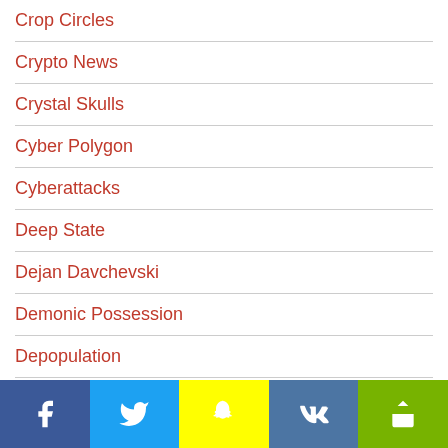Crop Circles
Crypto News
Crystal Skulls
Cyber Polygon
Cyberattacks
Deep State
Dejan Davchevski
Demonic Possession
Depopulation
Detox
Diabetes